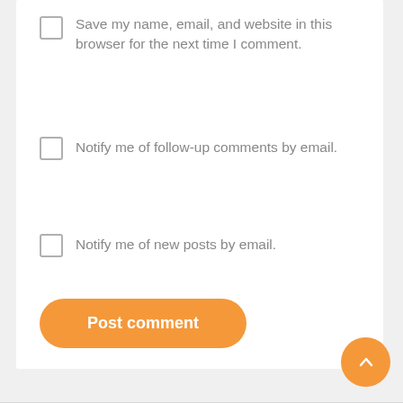Save my name, email, and website in this browser for the next time I comment.
Notify me of follow-up comments by email.
Notify me of new posts by email.
Post comment